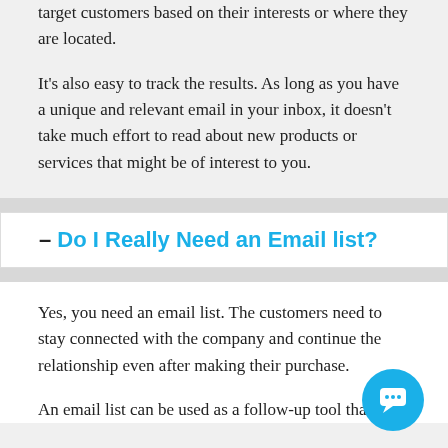target customers based on their interests or where they are located.

It's also easy to track the results. As long as you have a unique and relevant email in your inbox, it doesn't take much effort to read about new products or services that might be of interest to you.
– Do I Really Need an Email list?
Yes, you need an email list. The customers need to stay connected with the company and continue the relationship even after making their purchase.

An email list can be used as a follow-up tool that